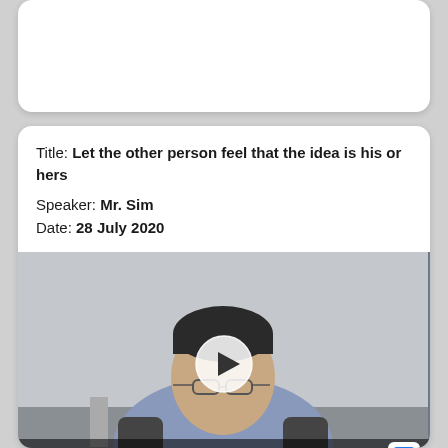Title: Let the other person feel that the idea is his or hers
Speaker: Mr. Sim
Date: 28 July 2020
[Figure (screenshot): Video thumbnail showing a man in a blue shirt seated at a desk in an office, with a circular play button overlay in the center. Footer bar reads 'Disiarkan oleh Turcomp BMB Sdn Bhd' with a Facebook icon.]